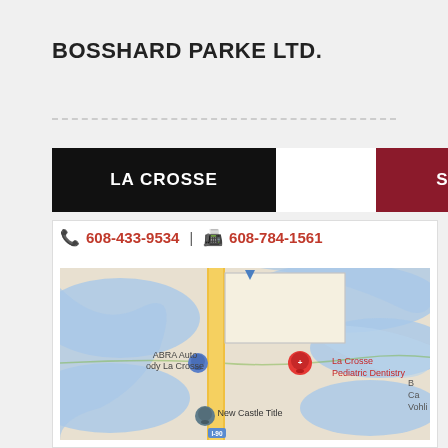BOSSHARD PARKE LTD.
[Figure (infographic): Two location tabs: LA CROSSE (black background) and SPARTA (dark red background)]
📞 608-433-9534 | 📠 608-784-1561
[Figure (map): Google Maps view showing La Crosse area with ABRA Auto Body La Crosse, La Crosse Pediatric Dentistry, New Castle Title, and highway I-90. Blue waterways visible. Yellow road running vertically in center.]